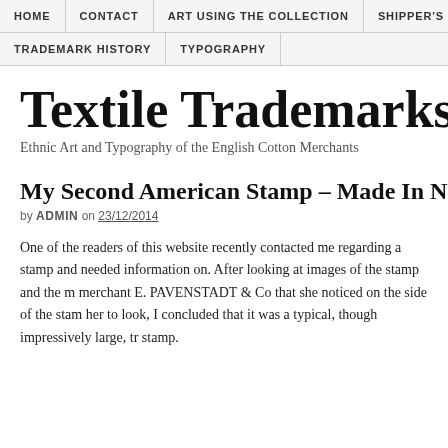HOME | CONTACT | ART USING THE COLLECTION | SHIPPER'S T... | TRADEMARK HISTORY | TYPOGRAPHY
Textile Trademarks
Ethnic Art and Typography of the English Cotton Merchants
My Second American Stamp – Made In NYC
by ADMIN on 23/12/2014
One of the readers of this website recently contacted me regarding a stamp and needed information on. After looking at images of the stamp and the merchant E. PAVENSTADT & Co that she noticed on the side of the stamp her to look, I concluded that it was a typical, though impressively large, tr... stamp.